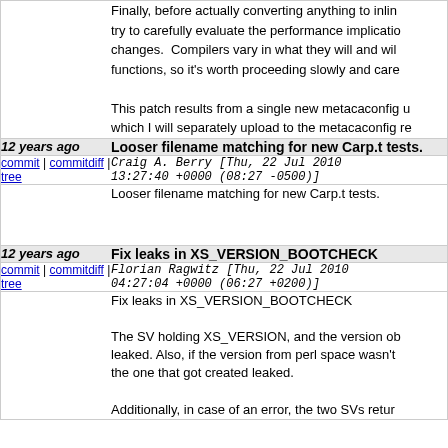Finally, before actually converting anything to inline, try to carefully evaluate the performance implications of such changes. Compilers vary in what they will and will not inline functions, so it's worth proceeding slowly and carefully.
This patch results from a single new metacaconfig unit which I will separately upload to the metacaconfig re
12 years ago Looser filename matching for new Carp.t tests.
commit | commitdiff | tree   Craig A. Berry [Thu, 22 Jul 2010 13:27:40 +0000 (08:27 -0500)]
Looser filename matching for new Carp.t tests.
12 years ago Fix leaks in XS_VERSION_BOOTCHECK
commit | commitdiff | tree   Florian Ragwitz [Thu, 22 Jul 2010 04:27:04 +0000 (06:27 +0200)]
Fix leaks in XS_VERSION_BOOTCHECK
The SV holding XS_VERSION, and the version ob leaked. Also, if the version from perl space wasn't the one that got created leaked.
Additionally, in case of an error, the two SVs retur